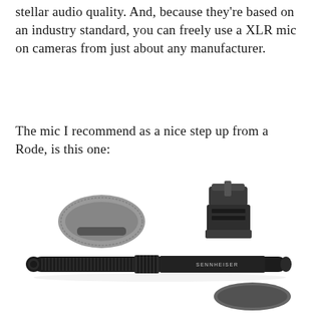stellar audio quality. And, because they're based on an industry standard, you can freely use a XLR mic on cameras from just about any manufacturer.
The mic I recommend as a nice step up from a Rode, is this one:
[Figure (photo): Product photo of a Sennheiser microphone kit showing a shotgun microphone (long black cylindrical barrel with the SENNHEISER logo), a furry windscreen (deadcat), a foam windscreen, and a camera hot-shoe mount/clip accessory, all arranged on a white background.]